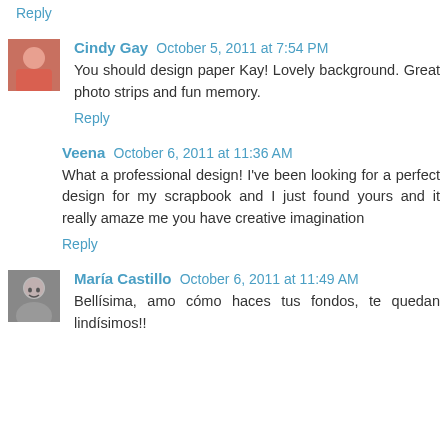Reply
Cindy Gay October 5, 2011 at 7:54 PM
You should design paper Kay! Lovely background. Great photo strips and fun memory.
Reply
Veena October 6, 2011 at 11:36 AM
What a professional design! I've been looking for a perfect design for my scrapbook and I just found yours and it really amaze me you have creative imagination
Reply
María Castillo October 6, 2011 at 11:49 AM
Bellísima, amo cómo haces tus fondos, te quedan lindísimos!!